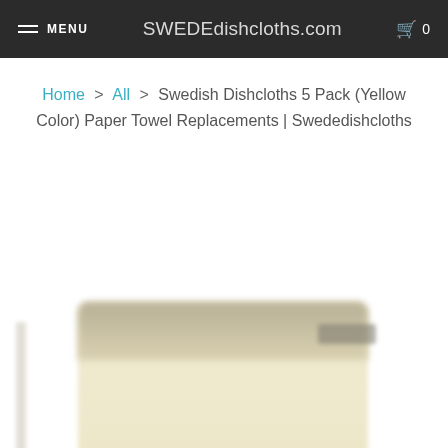≡ MENU   SWEDEdishcloths.com   🛒 0
Home > All > Swedish Dishcloths 5 Pack (Yellow Color) Paper Towel Replacements | Swededishcloths
[Figure (photo): Blurred product photo of Swedish dishcloths in yellow color, showing stacked cloths with a top band and a small label badge, set against a white background]